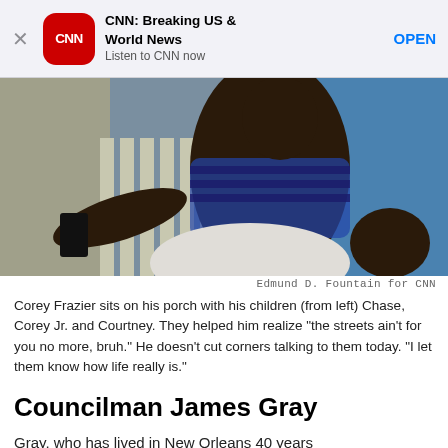CNN: Breaking US & World News
Listen to CNN now
OPEN
[Figure (photo): Man in blue striped shirt sitting on porch holding a phone, with a blue building in the background]
Edmund D. Fountain for CNN
Corey Frazier sits on his porch with his children (from left) Chase, Corey Jr. and Courtney. They helped him realize "the streets ain't for you no more, bruh." He doesn't cut corners talking to them today. "I let them know how life really is."
Councilman James Gray
Gray, who has lived in New Orleans 40 years...